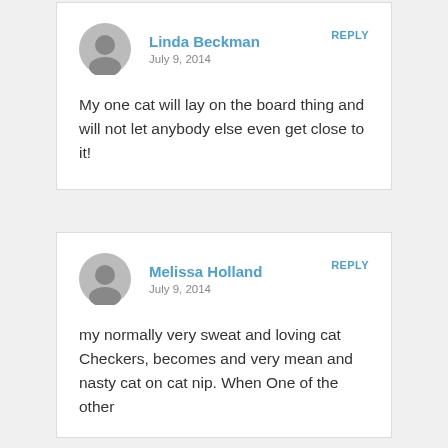Linda Beckman
July 9, 2014
My one cat will lay on the board thing and will not let anybody else even get close to it!
Melissa Holland
July 9, 2014
my normally very sweat and loving cat Checkers, becomes and very mean and nasty cat on cat nip. When One of the other